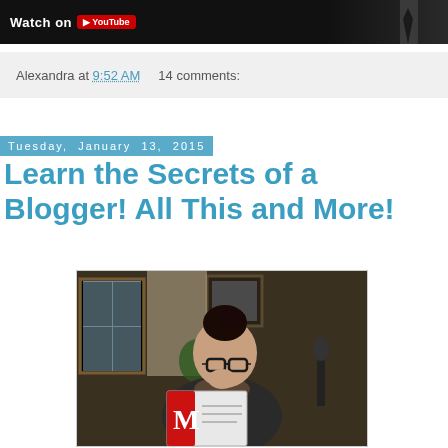[Figure (screenshot): Top cropped image bar showing 'Watch on YouTube' text with YouTube logo, dark background, partial view of a person in a suit with tie on right side]
Alexandra at 9:52 AM    14 comments:
Tuesday, January 13, 2015
Learn the Secrets of a Blogger! All This and More!
[Figure (photo): A woman with glasses and dark hair in a bun, wearing a dark jacket and scarf, reading a magazine with a red 'M' on the cover. She has her hand raised to her mouth in a surprised or thoughtful expression. Background shows a room with windows and framed artwork.]